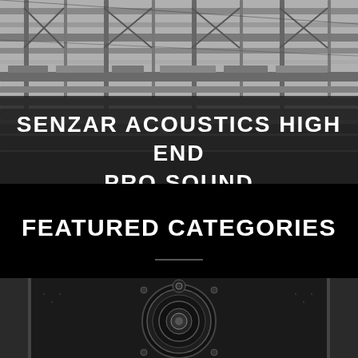[Figure (photo): Black and white photo of a large professional audio/staging equipment warehouse showing racks, trusses, and scaffolding structures stacked up high.]
SENZAR ACOUSTICS HIGH END PRO SOUND
FEATURED CATEGORIES
[Figure (photo): Black and white close-up photo of a professional loudspeaker cabinet showing the woofer cone and tweeter.]